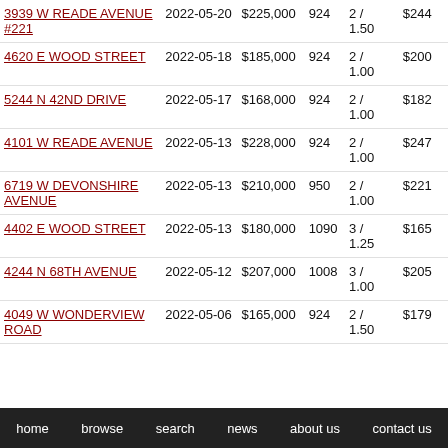| Address | Date | Price | SqFt | Bd/Ba | $/SqFt |
| --- | --- | --- | --- | --- | --- |
| 3939 W READE AVENUE #221 | 2022-05-20 | $225,000 | 924 | 2 / 1.50 | $244 |
| 4620 E WOOD STREET | 2022-05-18 | $185,000 | 924 | 2 / 1.00 | $200 |
| 5244 N 42ND DRIVE | 2022-05-17 | $168,000 | 924 | 2 / 1.00 | $182 |
| 4101 W READE AVENUE | 2022-05-13 | $228,000 | 924 | 2 / 1.00 | $247 |
| 6719 W DEVONSHIRE AVENUE | 2022-05-13 | $210,000 | 950 | 2 / 1.00 | $221 |
| 4402 E WOOD STREET | 2022-05-13 | $180,000 | 1090 | 3 / 1.25 | $165 |
| 4244 N 68TH AVENUE | 2022-05-12 | $207,000 | 1008 | 3 / 1.00 | $205 |
| 4049 W WONDERVIEW ROAD | 2022-05-06 | $165,000 | 924 | 2 / 1.50 | $179 |
home   browse   search   news   about us   contact us